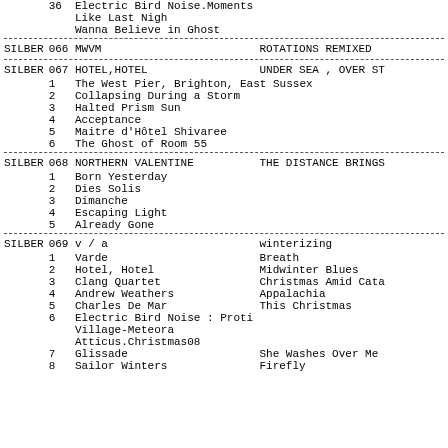| Label | Cat# | Artist | Title |
| --- | --- | --- | --- |
|  | 36 | Electric Bird Noise | Moments Like Last Night / Wanna Believe in Ghost |
| SILBER | 066 | MWVM | ROTATIONS REMIXED |
| SILBER | 067 | HOTEL,HOTEL | UNDER SEA , OVER ST |
|  | 1 | The West Pier, Brighton, East Sussex |  |
|  | 2 | Collapsing During a Storm |  |
|  | 3 | Halted Prism Sun |  |
|  | 4 | Acceptance |  |
|  | 5 | Maitre d'Hôtel Shivaree |  |
|  | 6 | The Ghost of Room 55 |  |
| SILBER | 068 | NORTHERN VALENTINE | THE DISTANCE BRINGS |
|  | 1 | Born Yesterday |  |
|  | 2 | Dies Solis |  |
|  | 3 | Dimanche |  |
|  | 4 | Escaping Light |  |
|  | 5 | Already Gone |  |
| SILBER | 069 | v / a | winterizing |
|  | 1 | Varde | Breath |
|  | 2 | Hotel, Hotel | Midwinter Blues |
|  | 3 | Clang Quartet | Christmas Amid Cata |
|  | 4 | Andrew Weathers | Appalachia |
|  | 5 | Charles De Mar | This Christmas |
|  | 6 | Electric Bird Noise : Proti Village-Meteora | Atticus.Christmas08 |
|  | 7 | Glissade | She Washes Over Me |
|  | 8 | Sailor Winters | Firefly |